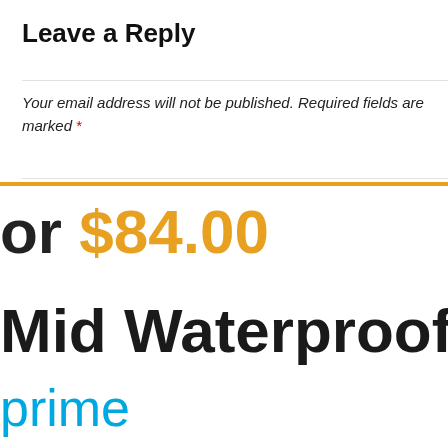Leave a Reply
Your email address will not be published. Required fields are marked *
or $84.00
Mid Waterproof H
prime